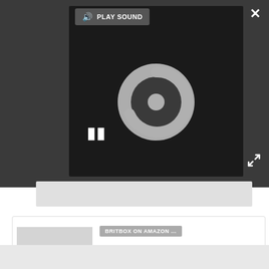[Figure (screenshot): Dark video player area with a loading spinner, pause button (||), and a 'PLAY SOUND' button with speaker icon at the top.]
PLAY SOUND
[Figure (logo): BritBox logo on grey background. 'brit' in red, 'box' in blue. Below: CREATED BY BBC & ITV.]
BRITBOX ON AMAZON ...
BritBox is the No. 1 way to watch all your favorite British shows from the BBC and ITV. And you can watch it easily via